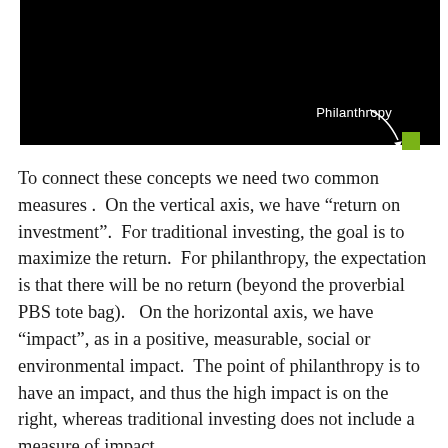[Figure (illustration): Black header image with the word 'Philanthropy' in white text and a curved arrow pointing down-right, with a small green square in the bottom-right corner.]
To connect these concepts we need two common measures . On the vertical axis, we have “return on investment”. For traditional investing, the goal is to maximize the return. For philanthropy, the expectation is that there will be no return (beyond the proverbial PBS tote bag). On the horizontal axis, we have “impact”, as in a positive, measurable, social or environmental impact. The point of philanthropy is to have an impact, and thus the high impact is on the right, whereas traditional investing does not include a measure of impact.